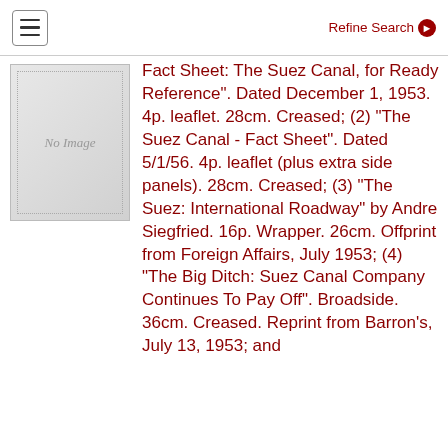Refine Search
[Figure (other): No Image placeholder thumbnail]
Fact Sheet: The Suez Canal, for Ready Reference". Dated December 1, 1953. 4p. leaflet. 28cm. Creased; (2) "The Suez Canal - Fact Sheet". Dated 5/1/56. 4p. leaflet (plus extra side panels). 28cm. Creased; (3) "The Suez: International Roadway" by Andre Siegfried. 16p. Wrapper. 26cm. Offprint from Foreign Affairs, July 1953; (4) "The Big Ditch: Suez Canal Company Continues To Pay Off". Broadside. 36cm. Creased. Reprint from Barron's, July 13, 1953; and